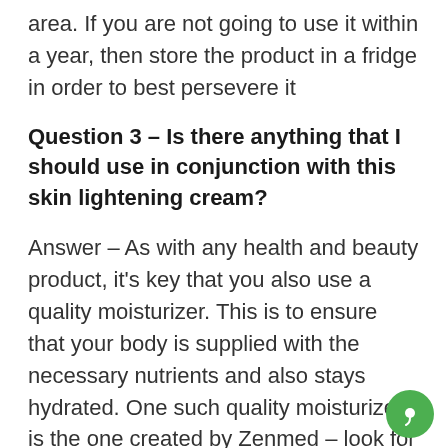area. If you are not going to use it within a year, then store the product in a fridge in order to best persevere it
Question 3 – Is there anything that I should use in conjunction with this skin lightening cream?
Answer – As with any health and beauty product, it's key that you also use a quality moisturizer. This is to ensure that your body is supplied with the necessary nutrients and also stays hydrated. One such quality moisturizer is the one created by Zenmed – look for the Zenmed's Moisturizing Lotion (Product 7 in the Table of Contents).
In addition to this, it's a good idea to also